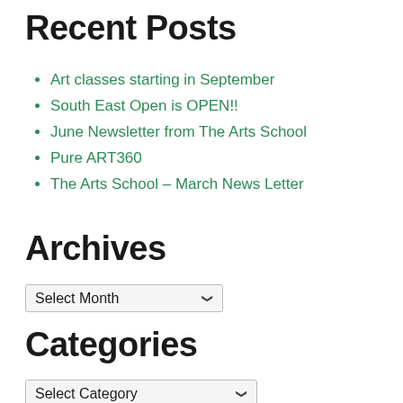Recent Posts
Art classes starting in September
South East Open is OPEN!!
June Newsletter from The Arts School
Pure ART360
The Arts School – March News Letter
Archives
Select Month
Categories
Select Category